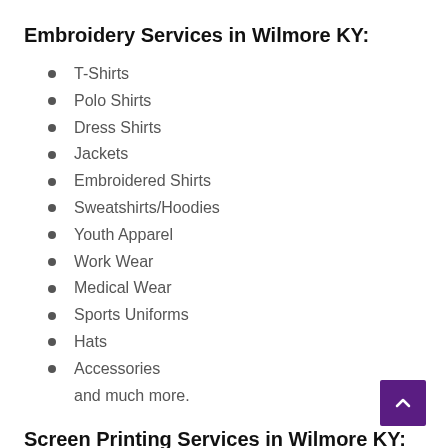Embroidery Services in Wilmore KY:
T-Shirts
Polo Shirts
Dress Shirts
Jackets
Embroidered Shirts
Sweatshirts/Hoodies
Youth Apparel
Work Wear
Medical Wear
Sports Uniforms
Hats
Accessories
and much more.
Screen Printing Services in Wilmore KY: